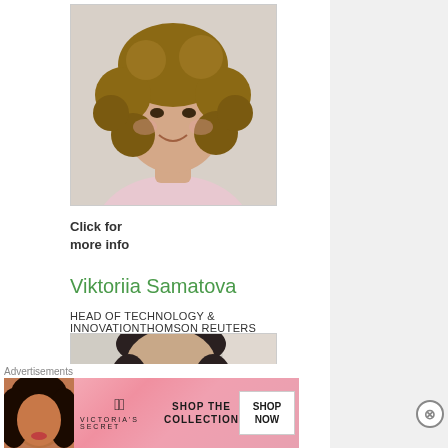[Figure (photo): Headshot photo of a young woman with curly brown hair, smiling, wearing a light pink shirt, against a light background]
Click for
more info
Viktoriia Samatova
HEAD OF TECHNOLOGY & INNOVATIONTHOMSON REUTERS
[Figure (photo): Partial headshot of a second person with dark hair, cropped, against a light background]
Advertisements
[Figure (photo): Victoria's Secret advertisement banner with a woman model, VS logo, text SHOP THE COLLECTION, and SHOP NOW button]